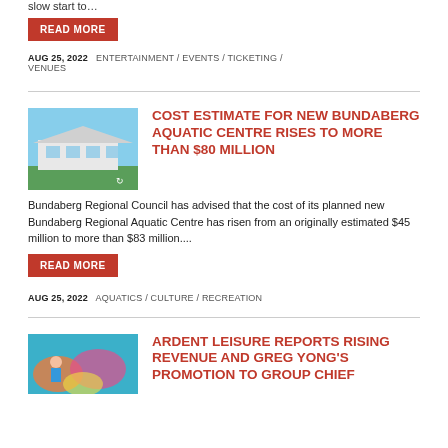slow start to…
READ MORE
AUG 25, 2022   ENTERTAINMENT / EVENTS / TICKETING / VENUES
[Figure (photo): Exterior photo of Bundaberg Regional Aquatic Centre building with blue sky]
COST ESTIMATE FOR NEW BUNDABERG AQUATIC CENTRE RISES TO MORE THAN $80 MILLION
Bundaberg Regional Council has advised that the cost of its planned new Bundaberg Regional Aquatic Centre has risen from an originally estimated $45 million to more than $83 million....
READ MORE
AUG 25, 2022   AQUATICS / CULTURE / RECREATION
[Figure (photo): Colorful water park with slides and a child in foreground]
ARDENT LEISURE REPORTS RISING REVENUE AND GREG YONG'S PROMOTION TO GROUP CHIEF